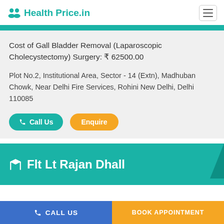Health Price.in
Cost of Gall Bladder Removal (Laparoscopic Cholecystectomy) Surgery: ₹ 62500.00
Plot No.2, Institutional Area, Sector - 14 (Extn), Madhuban Chowk, Near Delhi Fire Services, Rohini New Delhi, Delhi 110085
Call Us   Enquire
Flt Lt Rajan Dhall
CALL US   BOOK APPOINTMENT